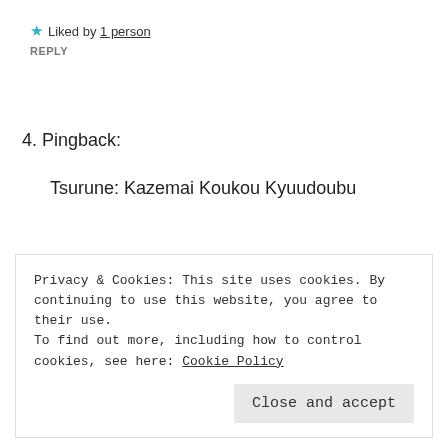★ Liked by 1 person
REPLY
4. Pingback:
Tsurune: Kazemai Koukou Kyuudoubu
5. Pingback:
Privacy & Cookies: This site uses cookies. By continuing to use this website, you agree to their use. To find out more, including how to control cookies, see here: Cookie Policy
Close and accept